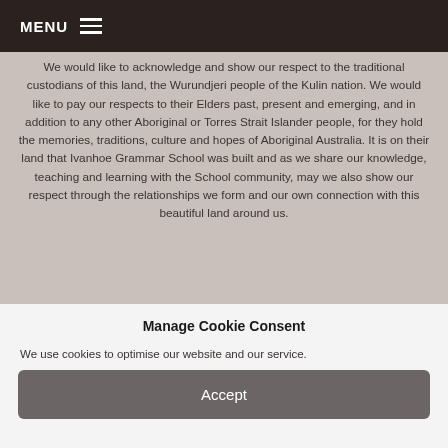MENU
We would like to acknowledge and show our respect to the traditional custodians of this land, the Wurundjeri people of the Kulin nation. We would like to pay our respects to their Elders past, present and emerging, and in addition to any other Aboriginal or Torres Strait Islander people, for they hold the memories, traditions, culture and hopes of Aboriginal Australia. It is on their land that Ivanhoe Grammar School was built and as we share our knowledge, teaching and learning with the School community, may we also show our respect through the relationships we form and our own connection with this beautiful land around us.
Manage Cookie Consent
We use cookies to optimise our website and our service.
Accept